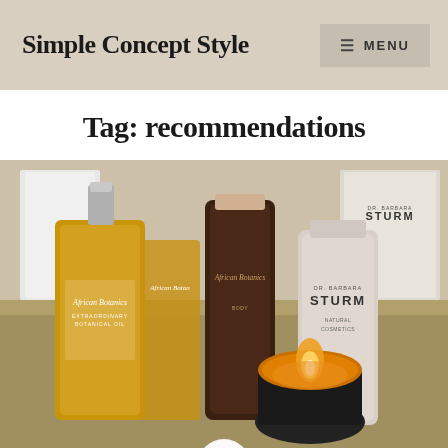Simple Concept Style
Tag: recommendations
[Figure (photo): Flat-lay photo of luxury skincare products including African Botanics botanical oil bottle, African Botanics tube, Dr. Barbara Sturm natural cosmetics tube, and a lit amber candle, arranged on a reflective surface with white boxes in background.]